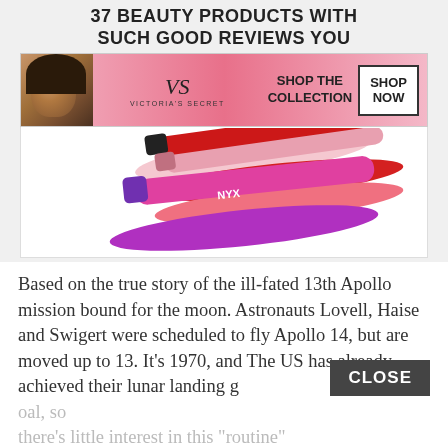37 BEAUTY PRODUCTS WITH SUCH GOOD REVIEWS YOU
[Figure (photo): Victoria's Secret advertisement banner with a woman model on the left, VS logo in the center, 'SHOP THE COLLECTION' text, and a white 'SHOP NOW' button on a pink gradient background]
[Figure (photo): NYX lip products - multiple lipstick tubes and lip swatches in pink, red, and purple colors arranged on a white background]
Based on the true story of the ill-fated 13th Apollo mission bound for the moon. Astronauts Lovell, Haise and Swigert were scheduled to fly Apollo 14, but are moved up to 13. It's 1970, and The US has already achieved their lunar landing goal, so there's little interest in this "routine" flight.. until that is, things go very wrong,